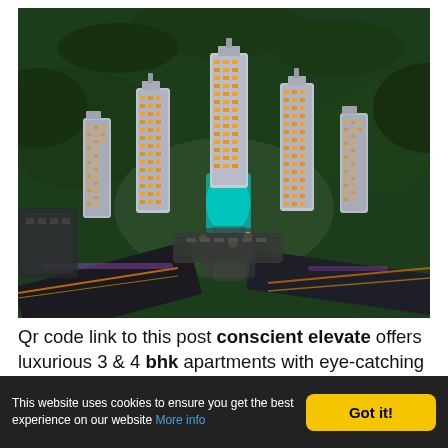[Figure (photo): Aerial view of a luxury high-rise residential complex with multiple tall towers surrounded by green trees and landscaping, with a pool area visible between the towers, roads with light trails in the foreground, taken at dusk/night]
Qr code link to this post conscient elevate offers luxurious 3 & 4 bhk apartments with eye-catching natural views and surroundings while maintaining the great
This website uses cookies to ensure you get the best experience on our website More info
Got it!